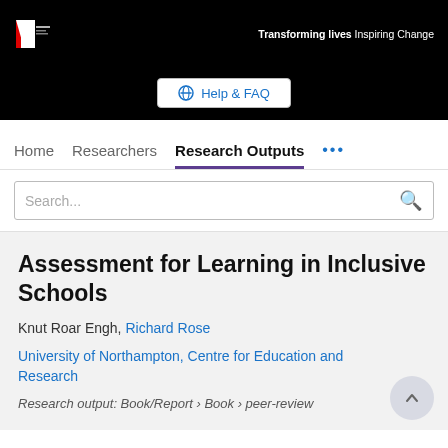University of Northampton — Transforming lives Inspiring Change
Help & FAQ
Home   Researchers   Research Outputs   ...
Search...
Assessment for Learning in Inclusive Schools
Knut Roar Engh, Richard Rose
University of Northampton, Centre for Education and Research
Research output: Book/Report › Book › peer-review